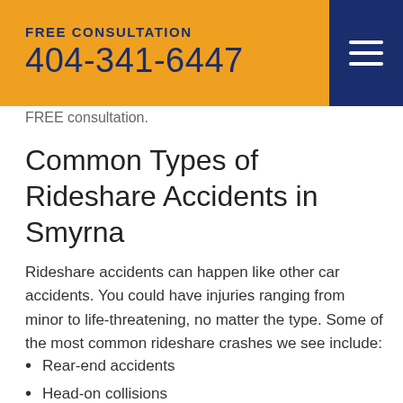FREE CONSULTATION 404-341-6447
FREE consultation.
Common Types of Rideshare Accidents in Smyrna
Rideshare accidents can happen like other car accidents. You could have injuries ranging from minor to life-threatening, no matter the type. Some of the most common rideshare crashes we see include:
Rear-end accidents
Head-on collisions
Rideshare driver accidents